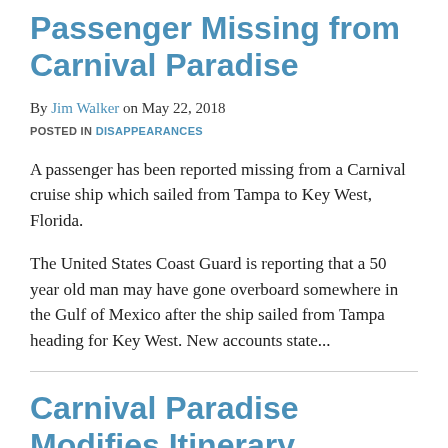Passenger Missing from Carnival Paradise
By Jim Walker on May 22, 2018
POSTED IN DISAPPEARANCES
A passenger has been reported missing from a Carnival cruise ship which sailed from Tampa to Key West, Florida.
The United States Coast Guard is reporting that a 50 year old man may have gone overboard somewhere in the Gulf of Mexico after the ship sailed from Tampa heading for Key West. New accounts state...
Carnival Paradise Modifies Itinerary